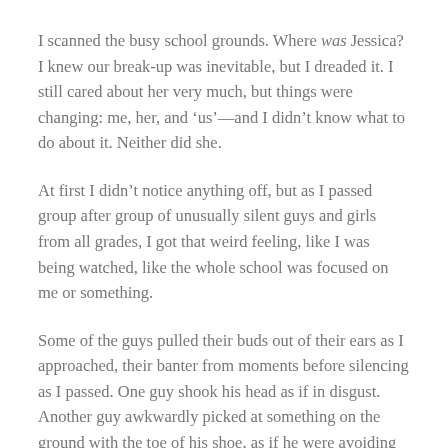I scanned the busy school grounds. Where was Jessica? I knew our break-up was inevitable, but I dreaded it. I still cared about her very much, but things were changing: me, her, and ‘us’––and I didn’t know what to do about it. Neither did she.
At first I didn’t notice anything off, but as I passed group after group of unusually silent guys and girls from all grades, I got that weird feeling, like I was being watched, like the whole school was focused on me or something.
Some of the guys pulled their buds out of their ears as I approached, their banter from moments before silencing as I passed. One guy shook his head as if in disgust. Another guy awkwardly picked at something on the ground with the toe of his shoe, as if he were avoiding something.